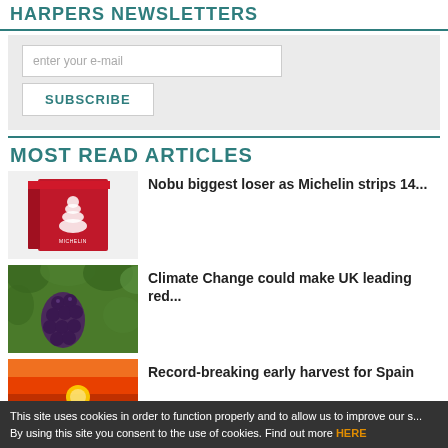HARPERS NEWSLETTERS
enter your e-mail
SUBSCRIBE
MOST READ ARTICLES
[Figure (photo): Red Michelin Guide book]
Nobu biggest loser as Michelin strips 14...
[Figure (photo): Bunch of dark grapes on vine with green leaves]
Climate Change could make UK leading red...
[Figure (photo): Sunset over vineyard rows, orange sky]
Record-breaking early harvest for Spain
This site uses cookies in order to function properly and to allow us to improve our s... By using this site you consent to the use of cookies. Find out more HERE